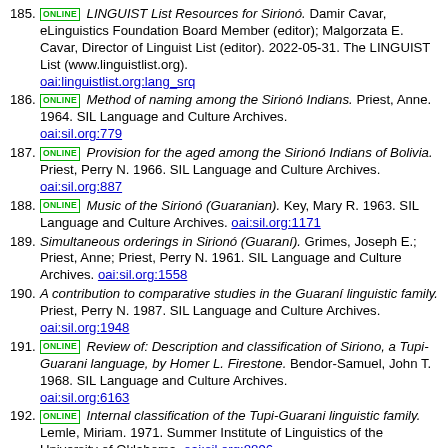185. [ONLINE] LINGUIST List Resources for Sirionó. Damir Cavar, eLinguistics Foundation Board Member (editor); Malgorzata E. Cavar, Director of Linguist List (editor). 2022-05-31. The LINGUIST List (www.linguistlist.org). oai:linguistlist.org:lang_srq
186. [ONLINE] Method of naming among the Sirionó Indians. Priest, Anne. 1964. SIL Language and Culture Archives. oai:sil.org:779
187. [ONLINE] Provision for the aged among the Sirionó Indians of Bolivia. Priest, Perry N. 1966. SIL Language and Culture Archives. oai:sil.org:887
188. [ONLINE] Music of the Sirionó (Guaranian). Key, Mary R. 1963. SIL Language and Culture Archives. oai:sil.org:1171
189. Simultaneous orderings in Sirionó (Guaraní). Grimes, Joseph E.; Priest, Anne; Priest, Perry N. 1961. SIL Language and Culture Archives. oai:sil.org:1558
190. A contribution to comparative studies in the Guaraní linguistic family. Priest, Perry N. 1987. SIL Language and Culture Archives. oai:sil.org:1948
191. [ONLINE] Review of: Description and classification of Siriono, a Tupi-Guarani language, by Homer L. Firestone. Bendor-Samuel, John T. 1968. SIL Language and Culture Archives. oai:sil.org:6163
192. [ONLINE] Internal classification of the Tupi-Guarani linguistic family. Lemle, Miriam. 1971. Summer Institute of Linguistics of the University of Oklahoma. oai:sil.org:8896
193. Phonemes of the Sirionó language. Priest, Perry N. 1968. SIL Language and Culture Archives. oai:sil.org:10779